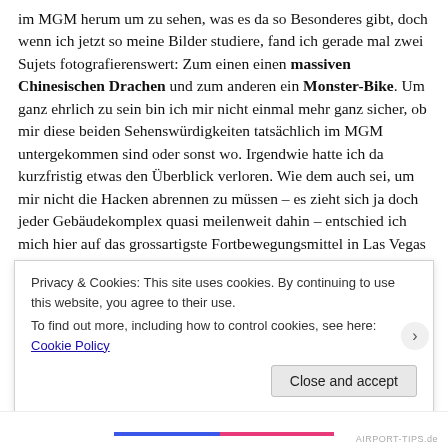im MGM herum um zu sehen, was es da so Besonderes gibt, doch wenn ich jetzt so meine Bilder studiere, fand ich gerade mal zwei Sujets fotografierenswert: Zum einen einen massiven Chinesischen Drachen und zum anderen ein Monster-Bike. Um ganz ehrlich zu sein bin ich mir nicht einmal mehr ganz sicher, ob mir diese beiden Sehenswürdigkeiten tatsächlich im MGM untergekommen sind oder sonst wo. Irgendwie hatte ich da kurzfristig etwas den Überblick verloren. Wie dem auch sei, um mir nicht die Hacken abrennen zu müssen – es zieht sich ja doch jeder Gebäudekomplex quasi meilenweit dahin – entschied ich mich hier auf das grossartigste Fortbewegungsmittel in Las Vegas umzusteigen: Die Monorail. Damit kann man ganz husch vom MGM bis fast hinauf zum
Privacy & Cookies: This site uses cookies. By continuing to use this website, you agree to their use.
To find out more, including how to control cookies, see here: Cookie Policy
Close and accept